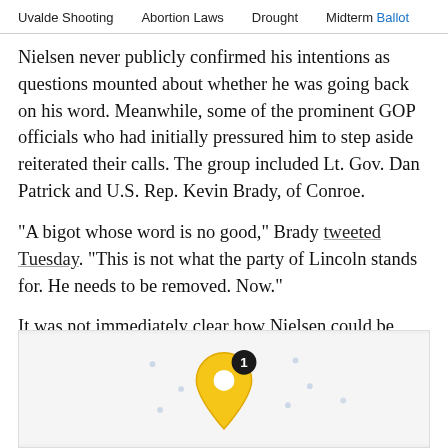Uvalde Shooting    Abortion Laws    Drought    Midterm Ballot
Nielsen never publicly confirmed his intentions as questions mounted about whether he was going back on his word. Meanwhile, some of the prominent GOP officials who had initially pressured him to step aside reiterated their calls. The group included Lt. Gov. Dan Patrick and U.S. Rep. Kevin Brady, of Conroe.

"A bigot whose word is no good," Brady tweeted Tuesday. "This is not what the party of Lincoln stands for. He needs to be removed. Now."

It was not immediately clear how Nielsen could be ousted.
[Figure (map): Map with a gold/yellow location pin marker showing number 1, with decorative dots around it on a light background.]